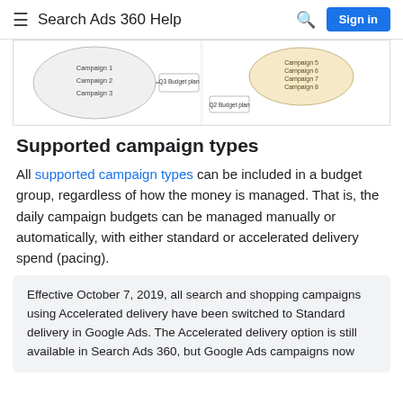Search Ads 360 Help
[Figure (illustration): Diagram showing two budget group illustrations side by side. Left: a circle containing Campaign 1, Campaign 2, Campaign 3 with an arrow pointing to a box labeled 'Q3 Budget plan'. Right: an oval (tan/yellow) containing Campaign 5, Campaign 6, Campaign 7, Campaign 8 with an arrow pointing to a box labeled 'Q2 Budget plan'.]
Supported campaign types
All supported campaign types can be included in a budget group, regardless of how the money is managed. That is, the daily campaign budgets can be managed manually or automatically, with either standard or accelerated delivery spend (pacing).
Effective October 7, 2019, all search and shopping campaigns using Accelerated delivery have been switched to Standard delivery in Google Ads. The Accelerated delivery option is still available in Search Ads 360, but Google Ads campaigns now